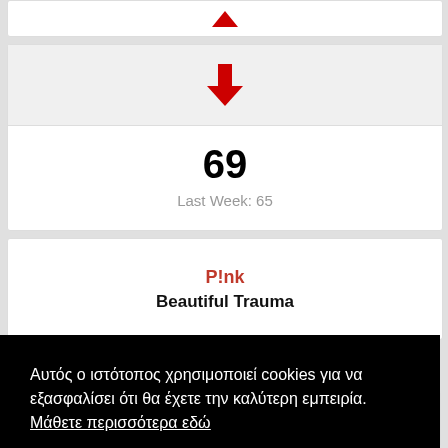[Figure (screenshot): Partial top card from a music chart app, showing cropped content at the very top]
[Figure (screenshot): Red downward arrow icon indicating chart position movement downward]
69
Last Week: 65
P!nk
Beautiful Trauma
Αυτός ο ιστότοπος χρησιμοποιεί cookies για να εξασφαλίσει ότι θα έχετε την καλύτερη εμπειρία.  Μάθετε περισσότερα εδώ
ΔΕΧΟΜΑΙ
Last Week: 67